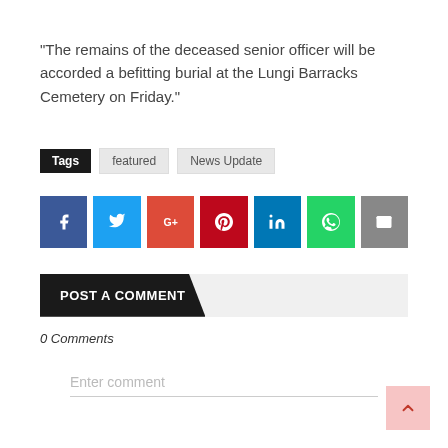"The remains of the deceased senior officer will be accorded a befitting burial at the Lungi Barracks Cemetery on Friday."
Tags  featured  News Update
[Figure (infographic): Social sharing buttons: Facebook, Twitter, Google+, Pinterest, LinkedIn, WhatsApp, Email]
POST A COMMENT
0 Comments
Enter comment